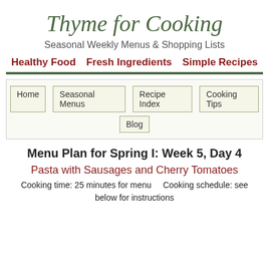Thyme for Cooking
Seasonal Weekly Menus & Shopping Lists
Healthy Food   Fresh Ingredients   Simple Recipes
Home | Seasonal Menus | Recipe Index | Cooking Tips | Blog
Menu Plan for Spring I: Week 5, Day 4
Pasta with Sausages and Cherry Tomatoes
Cooking time: 25 minutes for menu below for instructions   Cooking schedule: see